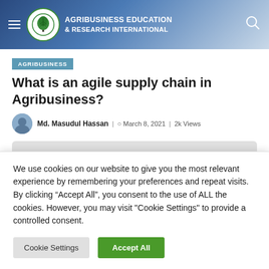AGRIBUSINESS EDUCATION & RESEARCH INTERNATIONAL
AGRIBUSINESS
What is an agile supply chain in Agribusiness?
Md. Masudul Hassan | March 8, 2021 | 2k Views
[Figure (photo): Article featured image placeholder (gray rectangle)]
We use cookies on our website to give you the most relevant experience by remembering your preferences and repeat visits. By clicking “Accept All”, you consent to the use of ALL the cookies. However, you may visit "Cookie Settings" to provide a controlled consent.